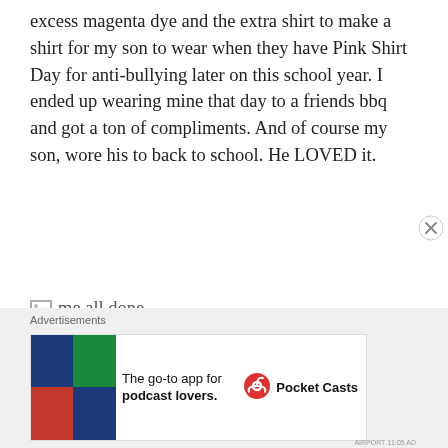excess magenta dye and the extra shirt to make a shirt for my son to wear when they have Pink Shirt Day for anti-bullying later on this school year.  I ended up wearing mine that day to a friends bbq and got a ton of compliments.  And of course my son, wore his to back to school.  He LOVED it.
[Figure (photo): Broken image placeholder with alt text 'me all done']
Advertisements — The go-to app for podcast lovers. Pocket Casts